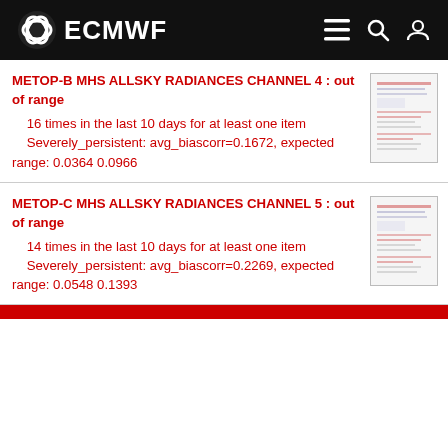ECMWF
METOP-B MHS ALLSKY RADIANCES CHANNEL 4 : out of range
16 times in the last 10 days for at least one item
        Severely_persistent: avg_biascorr=0.1672, expected range: 0.0364 0.0966
METOP-C MHS ALLSKY RADIANCES CHANNEL 5 : out of range
14 times in the last 10 days for at least one item
        Severely_persistent: avg_biascorr=0.2269, expected range: 0.0548 0.1393